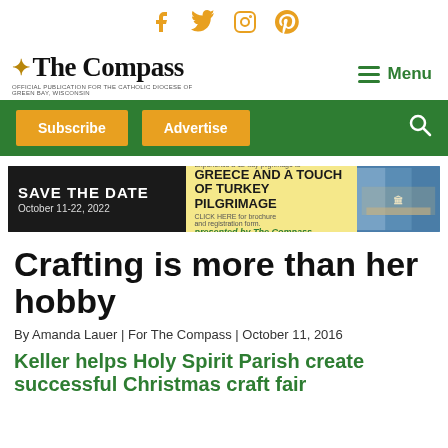Social icons: Facebook, Twitter, Instagram, Pinterest
[Figure (logo): The Compass newspaper logo with starburst icon and tagline 'Official Publication for the Catholic Diocese of Green Bay, Wisconsin']
Menu
[Figure (infographic): Green navigation bar with Subscribe and Advertise buttons and search icon]
[Figure (infographic): Advertisement banner: Save the Date October 11-22, 2022 - Experience a 12-day pilgrimage to Greece and a Touch of Turkey Pilgrimage - Click Here for brochure and registration form - The Compass]
Crafting is more than her hobby
By Amanda Lauer | For The Compass | October 11, 2016
Keller helps Holy Spirit Parish create successful Christmas craft fair